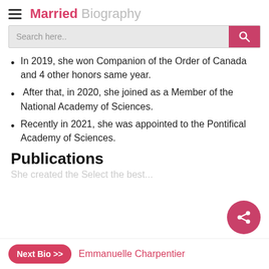Married Biography
In 2019, she won Companion of the Order of Canada and 4 other honors same year.
After that, in 2020, she joined as a Member of the National Academy of Sciences.
Recently in 2021, she was appointed to the Pontifical Academy of Sciences.
Publications
Next Bio >> Emmanuelle Charpentier